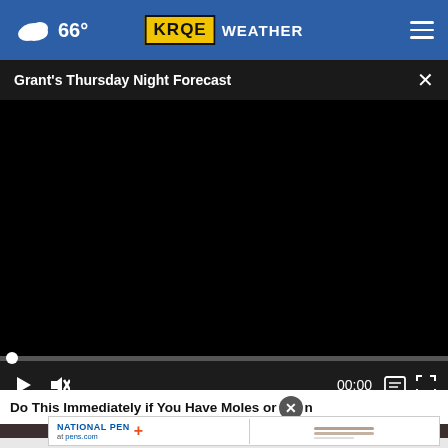66° KRQE WEATHER
Grant's Thursday Night Forecast
[Figure (screenshot): Video player showing a black/dark screen with playback controls: play button, mute button, timestamp 00:00, caption and fullscreen icons. Progress bar at bottom with dot indicator at start.]
Do This Immediately if You Have Moles or Skin Tags
[Figure (screenshot): Advertisement banner for National Pen at pens.com with logo and illustrated pen image]